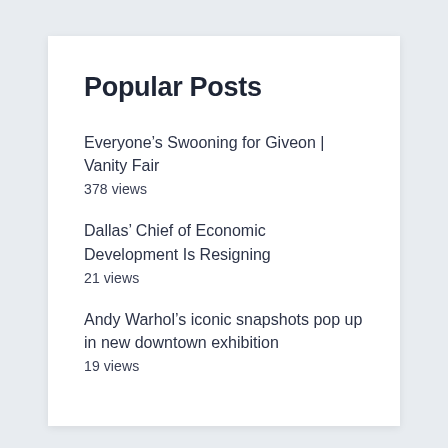Popular Posts
Everyone’s Swooning for Giveon | Vanity Fair
378 views
Dallas’ Chief of Economic Development Is Resigning
21 views
Andy Warhol’s iconic snapshots pop up in new downtown exhibition
19 views